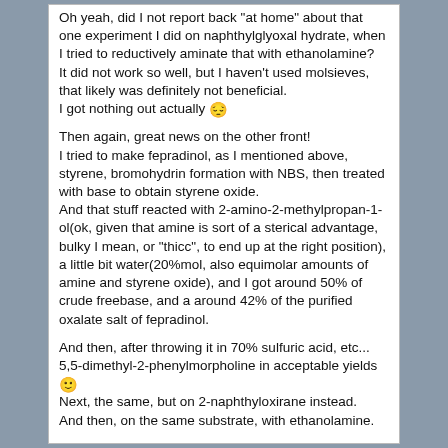Oh yeah, did I not report back "at home" about that one experiment I did on naphthylglyoxal hydrate, when I tried to reductively aminate that with ethanolamine?
It did not work so well, but I haven't used molsieves, that likely was definitely not beneficial.
I got nothing out actually 😔
Then again, great news on the other front!
I tried to make fepradinol, as I mentioned above, styrene, bromohydrin formation with NBS, then treated with base to obtain styrene oxide.
And that stuff reacted with 2-amino-2-methylpropan-1-ol(ok, given that amine is sort of a sterical advantage, bulky I mean, or "thicc", to end up at the right position), a little bit water(20%mol, also equimolar amounts of amine and styrene oxide), and I got around 50% of crude freebase, and a around 42% of the purified oxalate salt of fepradinol.
And then, after throwing it in 70% sulfuric acid, etc... 5,5-dimethyl-2-phenylmorpholine in acceptable yields 🙂
Next, the same, but on 2-naphthyloxirane instead.
And then, on the same substrate, with ethanolamine.
So yeah this is a viable approach for the shorter C2 phenylmorpholines without the 3-methyl.
Neat 🙂